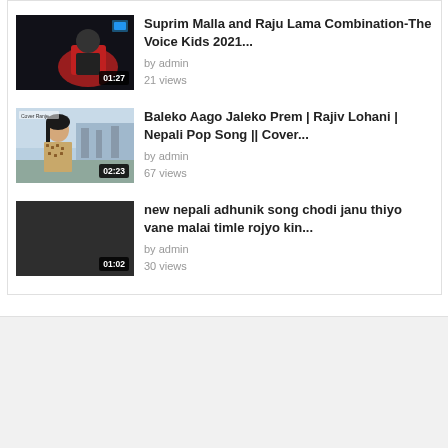[Figure (screenshot): Video listing panel showing three video items with thumbnails, titles, author, and view counts]
Suprim Malla and Raju Lama Combination-The Voice Kids 2021...
by admin
21 views
Baleko Aago Jaleko Prem | Rajiv Lohani | Nepali Pop Song || Cover...
by admin
67 views
new nepali adhunik song chodi janu thiyo vane malai timle rojyo kin...
by admin
30 views